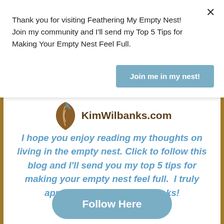Thank you for visiting Feathering My Empty Nest! Join my community and I'll send my Top 5 Tips for Making Your Empty Nest Feel Full.
Join me in my nest!
[Figure (logo): Feather/bird logo icon in brown/teal colors next to KimWilbanks.com site name]
I hope you enjoy reading my thoughts on living in the empty nest. Click to follow this blog and I'll send you my top 5 tips for making your empty nest feel full.  I truly appreciate the follow.  Thanks!
Follow Here